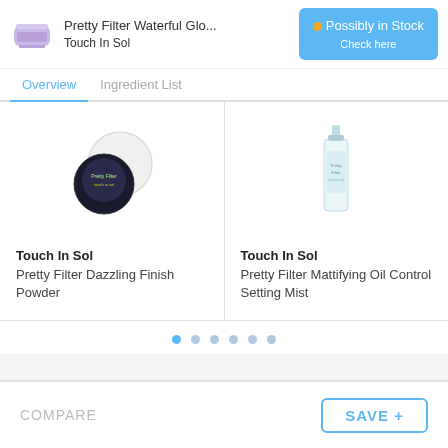Pretty Filter Waterful Glo.... Touch In Sol — Possibly in Stock Check here
Overview  Ingredient List
[Figure (photo): Round black compact powder with white lid — Touch In Sol Pretty Filter Dazzling Finish Powder product image]
Touch In Sol
Pretty Filter Dazzling Finish Powder
[Figure (photo): Tall spray bottle with light teal/mint label — Touch In Sol Pretty Filter Mattifying Oil Control Setting Mist product image]
Touch In Sol
Pretty Filter Mattifying Oil Control Setting Mist
COMPARE    SAVE +